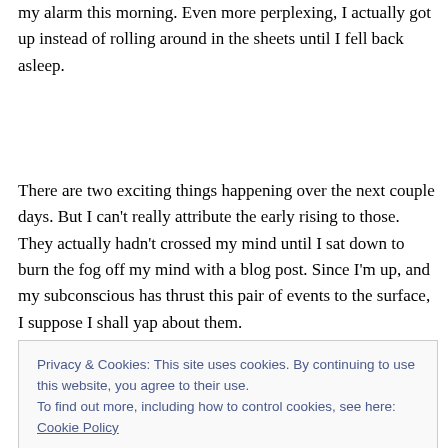my alarm this morning. Even more perplexing, I actually got up instead of rolling around in the sheets until I fell back asleep.
There are two exciting things happening over the next couple days. But I can't really attribute the early rising to those. They actually hadn't crossed my mind until I sat down to burn the fog off my mind with a blog post. Since I'm up, and my subconscious has thrust this pair of events to the surface, I suppose I shall yap about them.
This Friday kicks off the NW Ohio SCBWI annual
Privacy & Cookies: This site uses cookies. By continuing to use this website, you agree to their use.
To find out more, including how to control cookies, see here: Cookie Policy
Close and accept